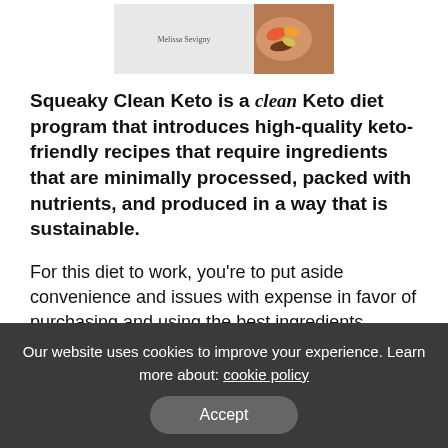[Figure (photo): Partial view of a cookbook cover showing 'Melissa Sevigny' as author and a colorful food dish image on the right side]
Squeaky Clean Keto is a clean Keto diet program that introduces high-quality keto-friendly recipes that require ingredients that are minimally processed, packed with nutrients, and produced in a way that is sustainable.
For this diet to work, you're to put aside convenience and issues with expense in favor of purchasing and using the best ingredients possible in an effort to "…eliminate common allergens and inflammation triggers" that may be keeping you from losing weight sooner.
Our website uses cookies to improve your experience. Learn more about: cookie policy
Accept